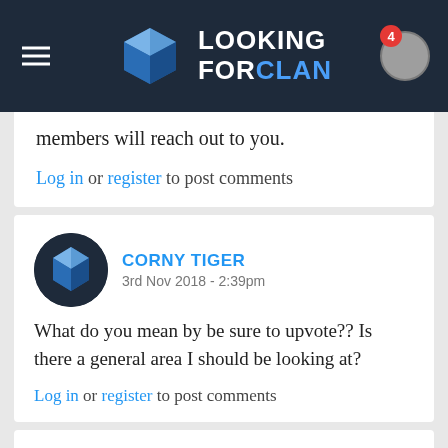LOOKING FOR CLAN
members will reach out to you.
Log in or register to post comments
CORNY TIGER
3rd Nov 2018 - 2:39pm
What do you mean by be sure to upvote?? Is there a general area I should be looking at?
Log in or register to post comments
GRM KNIGHT RED
4th Nov 2018 - 5:26pm
There is an option to vote for any clan on there page and